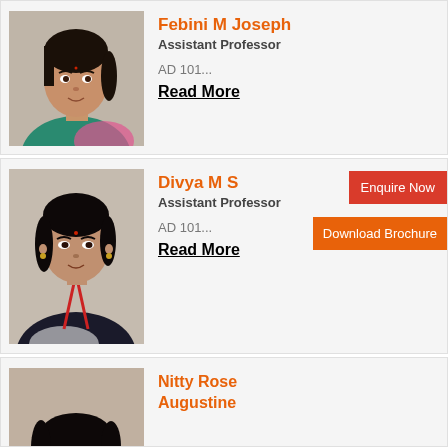[Figure (photo): Photo of Febini M Joseph, a woman in a teal/green outfit with pink dupatta]
Febini M Joseph
Assistant Professor
AD 101...
Read More
[Figure (photo): Photo of Divya M S, a woman in dark clothing with red lanyard]
Divya M S
Assistant Professor
AD 101...
Read More
Enquire Now
Download Brochure
[Figure (photo): Partial photo of Nitty Rose Augustine]
Nitty Rose Augustine